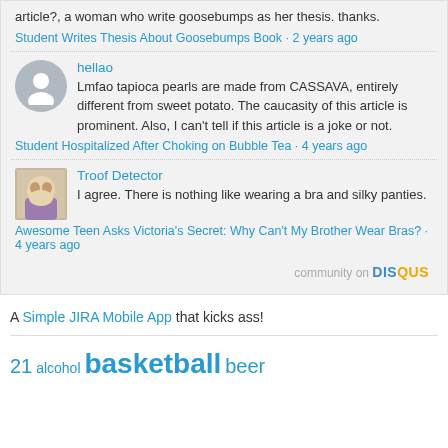article?, a woman who write goosebumps as her thesis. thanks.
Student Writes Thesis About Goosebumps Book · 2 years ago
hellao
Lmfao tapioca pearls are made from CASSAVA, entirely different from sweet potato. The caucasity of this article is prominent. Also, I can't tell if this article is a joke or not.
Student Hospitalized After Choking on Bubble Tea · 4 years ago
Troof Detector
I agree. There is nothing like wearing a bra and silky panties.
Awesome Teen Asks Victoria's Secret: Why Can't My Brother Wear Bras? · 4 years ago
community on DISQUS
A Simple JIRA Mobile App that kicks ass!
21 alcohol basketball beer